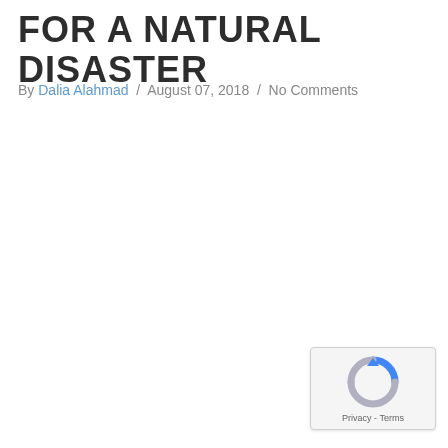FOR A NATURAL DISASTER
By Dalia Alahmad / August 07, 2018 / No Comments
[Figure (logo): reCAPTCHA badge with spinning arrow logo and Privacy - Terms text]